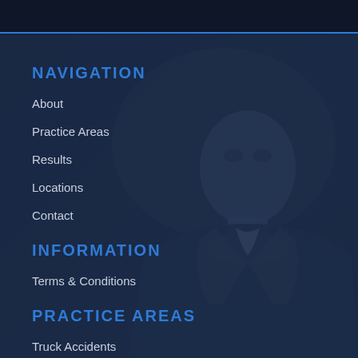[Figure (photo): Website navigation menu with dark blue/navy background overlay on a photo of a man in a business suit, showing a law firm website mobile menu]
NAVIGATION
About
Practice Areas
Results
Locations
Contact
INFORMATION
Terms & Conditions
PRACTICE AREAS
Truck Accidents